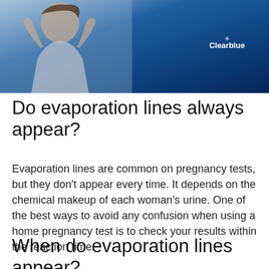[Figure (photo): Woman with hands raised near her head against a blue gradient background, with Clearblue logo in the upper right corner]
Do evaporation lines always appear?
Evaporation lines are common on pregnancy tests, but they don’t appear every time. It depends on the chemical makeup of each woman’s urine. One of the best ways to avoid any confusion when using a home pregnancy test is to check your results within the reaction time.
When do evaporation lines appear?